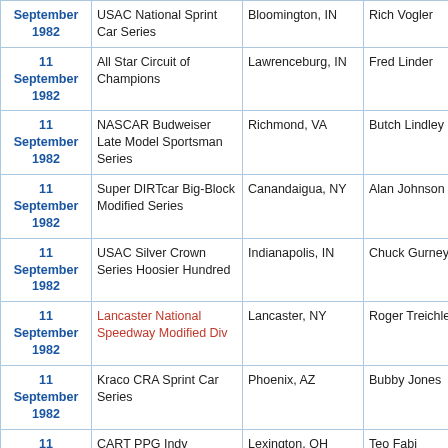| Date | Series | Location | Winner | Laps |
| --- | --- | --- | --- | --- |
| September 1982 | USAC National Sprint Car Series | Bloomington, IN | Rich Vogler |  |
| 11 September 1982 | All Star Circuit of Champions | Lawrenceburg, IN | Fred Linder |  |
| 11 September 1982 | NASCAR Budweiser Late Model Sportsman Series | Richmond, VA | Butch Lindley | 150 |
| 11 September 1982 | Super DIRTcar Big-Block Modified Series | Canandaigua, NY | Alan Johnson | 100 |
| 11 September 1982 | USAC Silver Crown Series Hoosier Hundred | Indianapolis, IN | Chuck Gurney | 100 |
| 11 September 1982 | Lancaster National Speedway Modified Div | Lancaster, NY | Roger Treichler | 100 |
| 11 September 1982 | Kraco CRA Sprint Car Series | Phoenix, AZ | Bubby Jones |  |
| 11 September | CART PPG Indy | Lexington, OH | Teo Fabi | 84 |